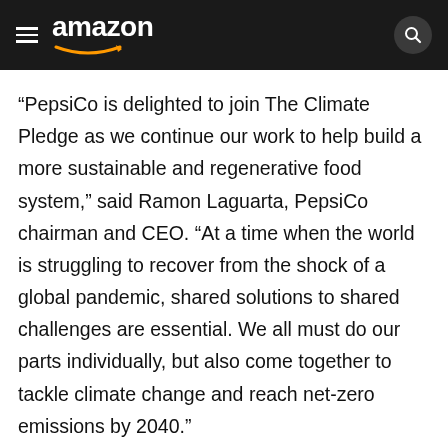amazon
“PepsiCo is delighted to join The Climate Pledge as we continue our work to help build a more sustainable and regenerative food system,” said Ramon Laguarta, PepsiCo chairman and CEO. “At a time when the world is struggling to recover from the shock of a global pandemic, shared solutions to shared challenges are essential. We all must do our parts individually, but also come together to tackle climate change and reach net-zero emissions by 2040.”